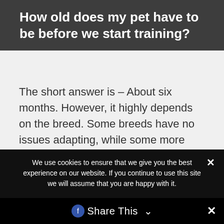How old does my pet have to be before we start training?
The short answer is – About six months. However, it highly depends on the breed. Some breeds have no issues adapting, while some more stubborn ones may cause issues. It's more a matter of individuality, but six months of age should be a good
We use cookies to ensure that we give you the best experience on our website. If you continue to use this site we will assume that you are happy with it.
Share This